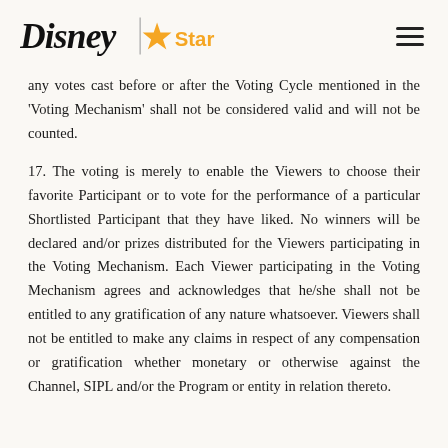Disney | Star [logo] [hamburger menu]
any votes cast before or after the Voting Cycle mentioned in the ‘Voting Mechanism’ shall not be considered valid and will not be counted.
17. The voting is merely to enable the Viewers to choose their favorite Participant or to vote for the performance of a particular Shortlisted Participant that they have liked. No winners will be declared and/or prizes distributed for the Viewers participating in the Voting Mechanism. Each Viewer participating in the Voting Mechanism agrees and acknowledges that he/she shall not be entitled to any gratification of any nature whatsoever. Viewers shall not be entitled to make any claims in respect of any compensation or gratification whether monetary or otherwise against the Channel, SIPL and/or the Program or entity in relation thereto.